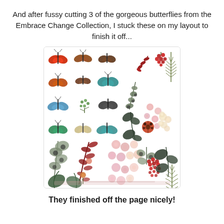And after fussy cutting 3 of the gorgeous butterflies from the Embrace Change Collection, I stuck these on my layout to finish it off...
[Figure (illustration): A decorative sticker/fussy-cut sheet from the Embrace Change Collection showing watercolor butterflies (red, brown, teal, green), floral sprigs (pink flowers, red berries, cream blossoms), leaves (dark green eucalyptus, sage), and botanical elements arranged in rows on a white background with a faint watermark at the bottom.]
They finished off the page nicely!